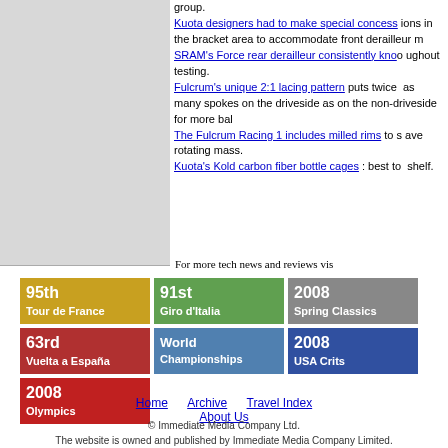group. Kuota designers had to make special concessions in the bracket area to accommodate front derailleur mounting. SRAM's Force rear derailleur consistently knocked throughout testing. Fulcrum's unique 2:1 lacing pattern puts twice as many spokes on the driveside as on the non-driveside for more balance. The Fulcrum Racing 1 includes milled rims to save rotating mass. Kuota's Kold carbon fiber bottle cages : best to shelf.
For more tech news and reviews vis
[Figure (screenshot): Navigation banner: 95th Tour de France]
[Figure (screenshot): Navigation banner: 91st Giro d'Italia]
[Figure (screenshot): Navigation banner: 2008 Spring Classics]
[Figure (screenshot): Navigation banner: 63rd Vuelta a Espana]
[Figure (screenshot): Navigation banner: World Championships]
[Figure (screenshot): Navigation banner: 2008 USA Crits]
[Figure (screenshot): Navigation banner: 2008 Olympics]
Home   Archive   Travel Index   About Us
© Immediate Media Company Ltd. The website is owned and published by Immediate Media Company Limited.